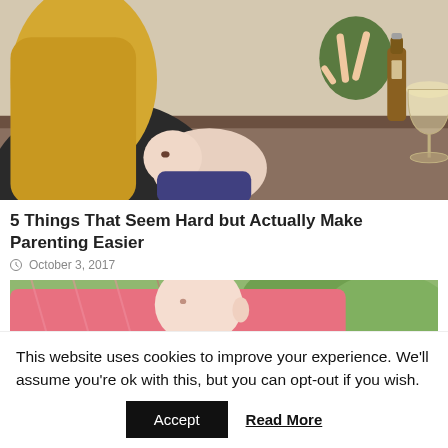[Figure (photo): A woman with blonde hair breastfeeding a baby at a table. In the background, another person makes a peace sign. A beer bottle and wine glass are visible on the table.]
5 Things That Seem Hard but Actually Make Parenting Easier
October 3, 2017
[Figure (photo): Close-up of a baby being held against a person wearing a pink patterned top, with green outdoor background.]
This website uses cookies to improve your experience. We'll assume you're ok with this, but you can opt-out if you wish.